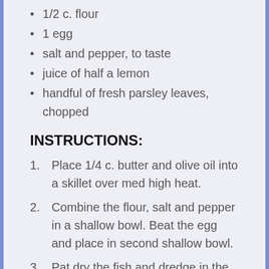1/2 c. flour
1 egg
salt and pepper, to taste
juice of half a lemon
handful of fresh parsley leaves, chopped
INSTRUCTIONS:
Place 1/4 c. butter and olive oil into a skillet over med high heat.
Combine the flour, salt and pepper in a shallow bowl. Beat the egg and place in second shallow bowl.
Pat dry the fish and dredge in the flour and then the egg.  Place into the hot oil and cook until golden brown about 4-5 minutes per